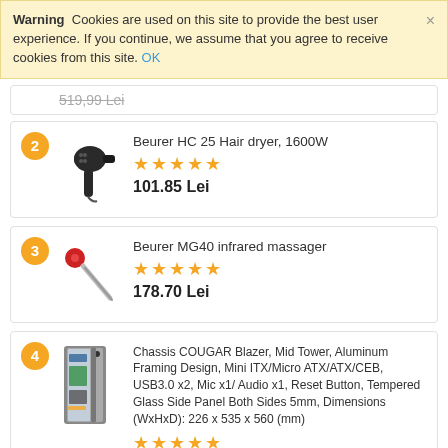Warning  Cookies are used on this site to provide the best user experience. If you continue, we assume that you agree to receive cookies from this site. OK
(partial price, item 1)
2 Beurer HC 25 Hair dryer, 1600W ★★★★★ 101.85 Lei
3 Beurer MG40 infrared massager ★★★★★ 178.70 Lei
4 Chassis COUGAR Blazer, Mid Tower, Aluminum Framing Design, Mini ITX/Micro ATX/ATX/CEB, USB3.0 x2, Mic x1/ Audio x1, Reset Button, Tempered Glass Side Panel Both Sides 5mm, Dimensions (WxHxD): 226 x 535 x 560 (mm) ★★★★★ 1,255.25 Lei